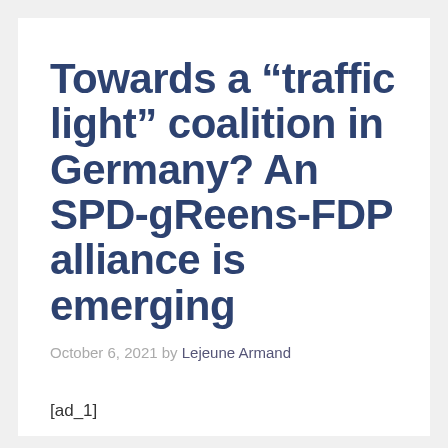Towards a “traffic light” coalition in Germany? An SPD-gReens-FDP alliance is emerging
October 6, 2021 by Lejeune Armand
[ad_1]